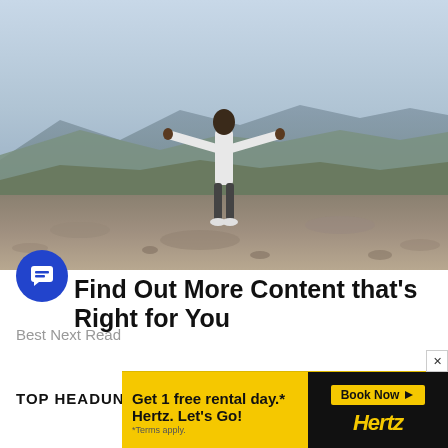[Figure (photo): Person standing on a mountain top with arms outstretched wide, wearing white shirt and dark pants, overlooking a scenic mountain valley landscape with hazy sky]
Find Out More Content that's Right for You
Best Next Read
TOP HEADUNIT ARTICLES
[Figure (other): Hertz advertisement banner: 'Get 1 free rental day.* Hertz. Let's Go!' with Book Now button and Hertz logo on yellow and black background. *Terms apply.]